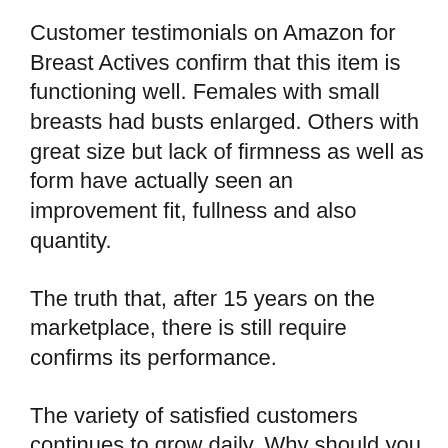Customer testimonials on Amazon for Breast Actives confirm that this item is functioning well. Females with small breasts had busts enlarged. Others with great size but lack of firmness as well as form have actually seen an improvement fit, fullness and also quantity.
The truth that, after 15 years on the marketplace, there is still require confirms its performance.
The variety of satisfied customers continues to grow daily. Why should you be excluded?
Exactly how Breast Actives benefits all-natural breast augmentation